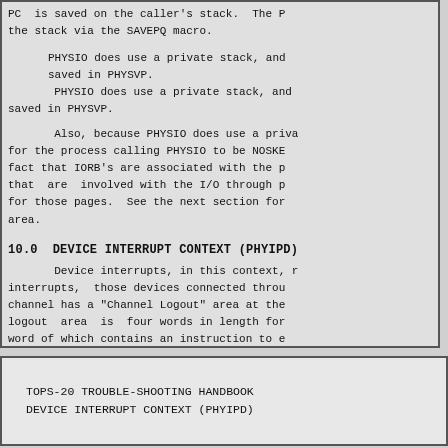PC  is saved on the caller's stack.  The P the stack via the SAVEPQ macro.
PHYSIO does use a private stack, and saved in PHYSVP.
Also, because PHYSIO does use a priva for the process calling PHYSIO to be NOSKE fact that IORB's are associated with the p that  are  involved with the I/O through p for those pages.  See the next section for area.
10.0  DEVICE INTERRUPT CONTEXT (PHYIPD)
Device interrupts, in this context, r interrupts,  those devices connected throu channel has a "Channel Logout" area at the logout  area  is  four words in length for word of which contains an instruction to e This  instruction causes the system to dis the CDB for the channel.
TOPS-20 TROUBLE-SHOOTING HANDBOOK
DEVICE INTERRUPT CONTEXT (PHYIPD)